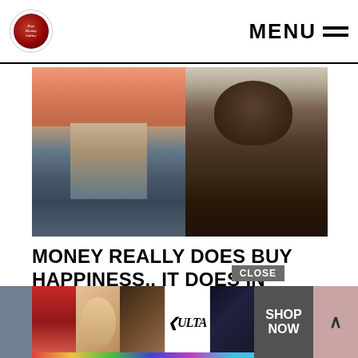MENU
[Figure (photo): Two people side by side: on the left, a person in jeans and orange shirt pulling out empty pockets; on the right, a smiling Black woman in a brown blazer holding a fan of US dollar bills.]
MONEY REALLY DOES BUY HAPPINESS.. IT DOES IN COUNTRIES, ANYWAY
[Figure (infographic): Advertisement banner for ULTA beauty featuring close-up images of lips with lipstick, a makeup brush, eyes with eye makeup, the ULTA Beauty logo, and more eye makeup. Includes CLOSE button, SHOP NOW button, and an up arrow button.]